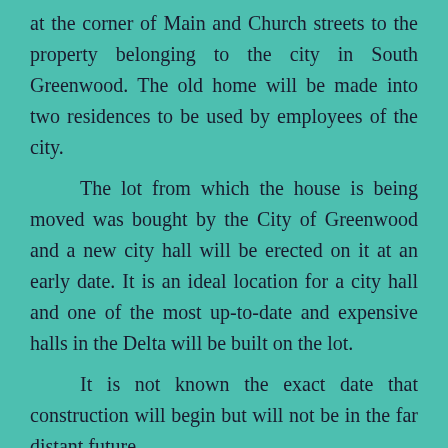at the corner of Main and Church streets to the property belonging to the city in South Greenwood. The old home will be made into two residences to be used by employees of the city.
The lot from which the house is being moved was bought by the City of Greenwood and a new city hall will be erected on it at an early date. It is an ideal location for a city hall and one of the most up-to-date and expensive halls in the Delta will be built on the lot.
It is not known the exact date that construction will begin but will not be in the far distant future.
From The Greenwood Commonwealth, July 6, 1929